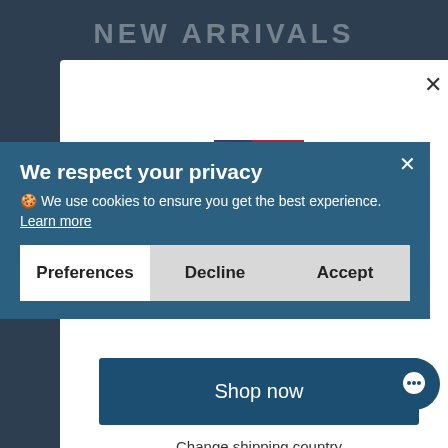NEW ARRIVALS
[Figure (screenshot): US flag icon]
Spirit Clothing ships to United States
🍪 We use cookies to ensure you get the best experience. Learn more
Get shipping options for United States
Preferences | Decline | Accept
Shop now
Change shipping country
Free Shipping.